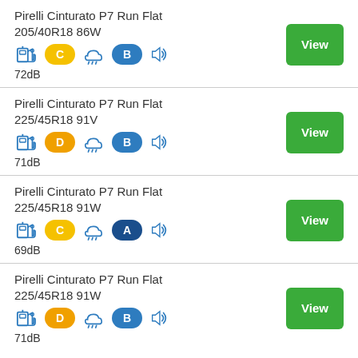Pirelli Cinturato P7 Run Flat 205/40R18 86W — fuel: C, wet: B, noise: 72dB
Pirelli Cinturato P7 Run Flat 225/45R18 91V — fuel: D, wet: B, noise: 71dB
Pirelli Cinturato P7 Run Flat 225/45R18 91W — fuel: C, wet: A, noise: 69dB
Pirelli Cinturato P7 Run Flat 225/45R18 91W — fuel: D, wet: B, noise: 71dB